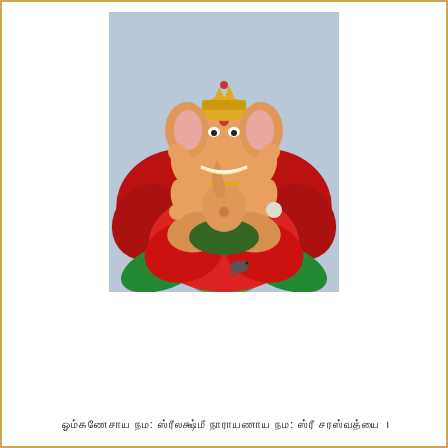[Figure (illustration): Colorful painting of Lord Ganesha seated on a large red lotus flower with green leaves. Ganesha has four arms, elephant head, and is adorned with gold jewelry and garlands. Background is light blue/grey.]
ஓம்கணேசாய நம: ஸ்ரீலக்ஷ்மீ நாராயணாய நம: ஸ்ரீ சரஸ்வத்யை ।